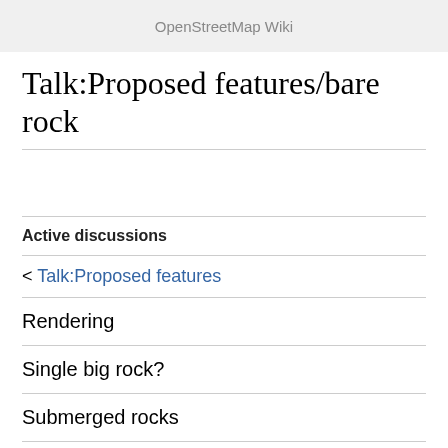OpenStreetMap Wiki
Talk:Proposed features/bare rock
Active discussions
< Talk:Proposed features
Rendering
Single big rock?
Submerged rocks
Rock islets